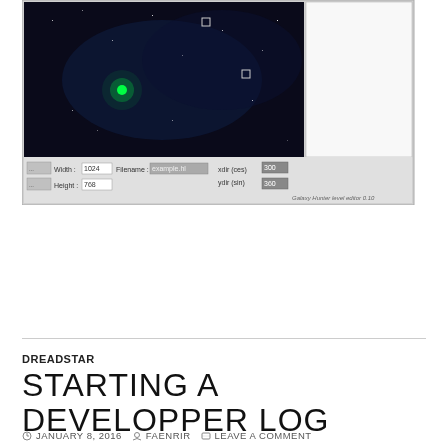[Figure (screenshot): Galaxy Hunter level editor 0.10 screenshot showing a dark space game scene with green glowing object, and UI controls for Width (1024), Height (768), Filename (example.hl), xdir/ydir values, and a panel on the right.]
DREADSTAR
STARTING A DEVELOPPER LOG
JANUARY 8, 2016   FAENRIR   LEAVE A COMMENT
Hi !
I am now starting a devlog about Galaxy Hunter.
This will help me focus on the development of the game and give news to anyone interested in the game at the same